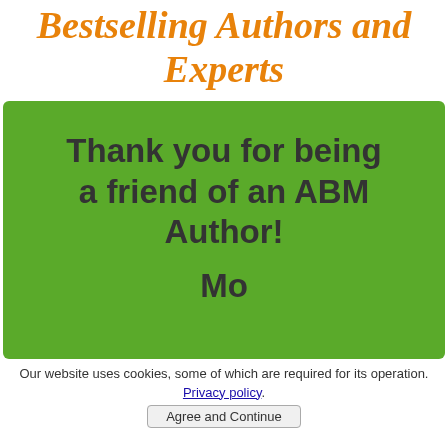Bestselling Authors and Experts
Thank you for being a friend of an ABM Author!
Our website uses cookies, some of which are required for its operation. Privacy policy. Agree and Continue